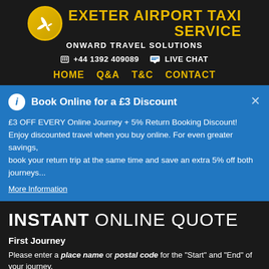EXETER AIRPORT TAXI SERVICE
ONWARD TRAVEL SOLUTIONS
+44 1392 409089   LIVE CHAT
HOME  Q&A  T&C  CONTACT
Book Online for a £3 Discount
£3 OFF EVERY Online Journey + 5% Return Booking Discount! Enjoy discounted travel when you buy online. For even greater savings, book your return trip at the same time and save an extra 5% off both journeys...
More Information
INSTANT ONLINE QUOTE
First Journey
Please enter a place name or postal code for the "Start" and "End" of your journey.